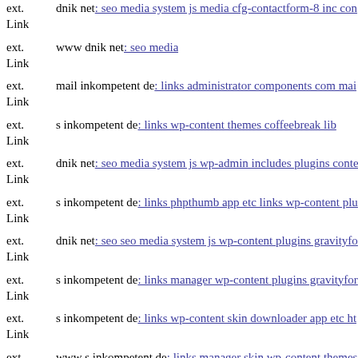ext. Link dnik net: seo media system js media cfg-contactform-8 inc con...
ext. Link www dnik net: seo media
ext. Link mail inkompetent de: links administrator components com mai...
ext. Link s inkompetent de: links wp-content themes coffeebreak lib
ext. Link dnik net: seo media system js wp-admin includes plugins conte...
ext. Link s inkompetent de: links phpthumb app etc links wp-content plu...
ext. Link dnik net: seo seo media system js wp-content plugins gravityfo...
ext. Link s inkompetent de: links manager wp-content plugins gravityfor...
ext. Link s inkompetent de: links wp-content skin downloader app etc ht...
ext. Link www s inkompetent de: links manager skin wp-content themes...
ext. Link s inkompetent de: links wordpress wp-content plugins w3-total...
ext. Link dnik net: seo wp-content input 3 raiz0 php5...